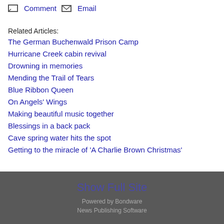Comment  Email
Related Articles:
The German Buchenwald Prison Camp
Hurricane Creek cabin revival
Drowning in memories
Mending the Trail of Tears
Blue Ribbon Queen
On Angels' Wings
Making beautiful music together
Blessings in a back pack
Cave spring water hits the spot
Getting to the miracle of 'A Charlie Brown Christmas'
Login and voice your opinion!
Show Full Site
Powered by Bondware
News Publishing Software